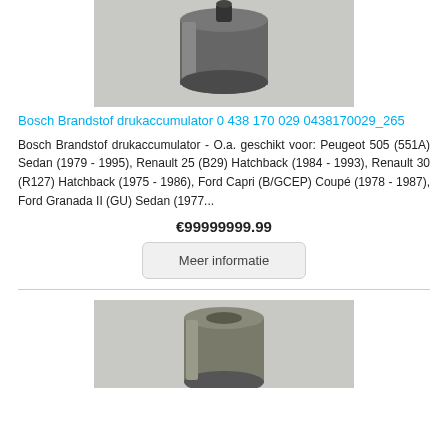[Figure (photo): Photo of a Bosch fuel pressure accumulator component, top half visible, on a light grey background.]
Bosch Brandstof drukaccumulator 0 438 170 029 0438170029_265
Bosch Brandstof drukaccumulator - O.a. geschikt voor: Peugeot 505 (551A) Sedan (1979 - 1995), Renault 25 (B29) Hatchback (1984 - 1993), Renault 30 (R127) Hatchback (1975 - 1986), Ford Capri (B/GCEP) Coupé (1978 - 1987), Ford Granada II (GU) Sedan (1977...
€99999999.99
Meer informatie
[Figure (photo): Photo of a second Bosch fuel pressure accumulator component, partially visible at the bottom of the page.]